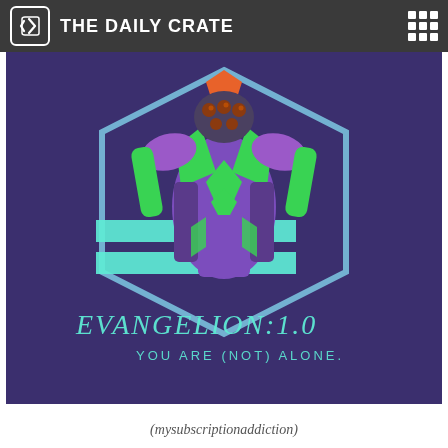THE DAILY CRATE
[Figure (photo): A purple Evangelion Unit-01 themed t-shirt with EVA-01 mech graphic, hexagon design, EVANGELION:1.0 script text, and 'YOU ARE (NOT) ALONE.' tagline on purple/navy fabric]
(mysubscriptionaddiction)